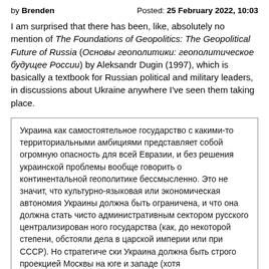by Brenden   Posted: 25 February 2022, 10:03
I am surprised that there has been, like, absolutely no mention of The Foundations of Geopolitics: The Geopolitical Future of Russia (Основы геополитики: геополитическое будущее России) by Aleksandr Dugin (1997), which is basically a textbook for Russian political and military leaders, in discussions about Ukraine anywhere I've seen them taking place.
Украина как самостоятельное государство с какими-то территориальными амбициями представляет собой огромную опасность для всей Евразии, и без решения украинской проблемы вообще говорить о континентальной геополитике бессмысленно. Это не значит, что культурно-языковая или экономическая автономия Украины должна быть ограничена, и что она должна стать чисто административным сектором русского централизирован ного государства (как, до некоторой степени, обстояли дела в царской империи или при СССР). Но стратегиче ски Украина должна быть строго проекцией Москвы на юге и западе (хотя